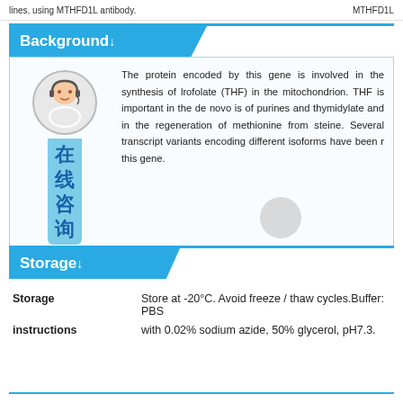lines, using MTHFD1L antibody.    MTHFD1L
Background↓
The protein encoded by this gene is involved in the synthesis of lrofolate (THF) in the mitochondrion. THF is important in the de novo is of purines and thymidylate and in the regeneration of methionine from steine. Several transcript variants encoding different isoforms have been r this gene.
[Figure (illustration): Online consultation widget with avatar person wearing headset and Chinese characters '在线咨询' (online consultation) on blue background]
Storage↓
| Storage instructions | Store at -20°C. Avoid freeze / thaw cycles.Buffer: PBS with 0.02% sodium azide, 50% glycerol, pH7.3. |